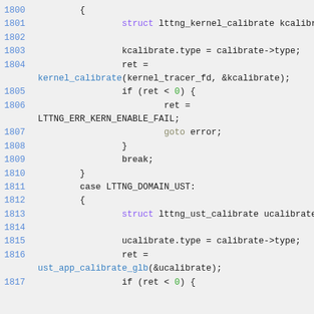Source code listing lines 1800-1817, C code for lttng kernel/ust calibration